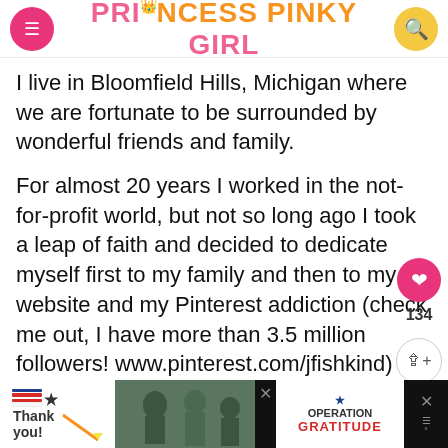PRINCESS PINKY GIRL
I live in Bloomfield Hills, Michigan where we are fortunate to be surrounded by wonderful friends and family.
For almost 20 years I worked in the not-for-profit world, but not so long ago I took a leap of faith and decided to dedicate myself first to my family and then to my website and my Pinterest addiction (check me out, I have more than 3.5 million followers! www.pinterest.com/jfishkind)
My favorite dessert ever is my Rainbow Sprinkle
[Figure (screenshot): Ad banner for Operation Gratitude with thank you message and military photo]